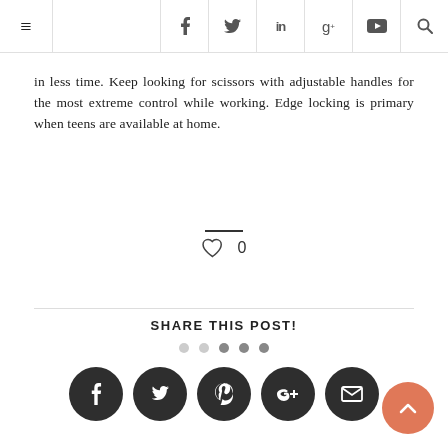≡  f  𝕥  in  g+  ▶  🔍
in less time. Keep looking for scissors with adjustable handles for the most extreme control while working. Edge locking is primary when teens are available at home.
♡ 0
SHARE THIS POST!
[Figure (infographic): Social share buttons row: Facebook, Twitter, Pinterest, Google+, Email — dark circular icon buttons]